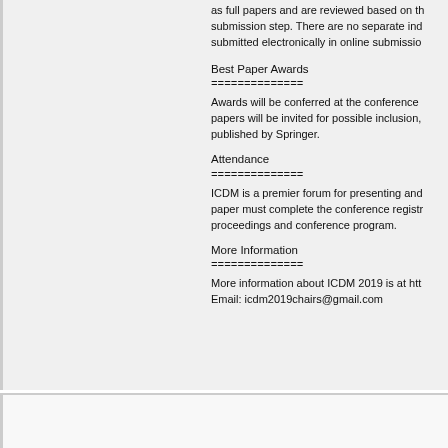as full papers and are reviewed based on the submission step. There are no separate ind... submitted electronically in online submission...
Best Paper Awards
==============
Awards will be conferred at the conference... papers will be invited for possible inclusion, published by Springer.
Attendance
==============
ICDM is a premier forum for presenting and... paper must complete the conference regist... proceedings and conference program.
More Information
==============
More information about ICDM 2019 is at http...
Email: icdm2019chairs@gmail.com
MLDM 2023   18th International Conference...
ICDM 2022   22nd IEEE International Conf...
JCRAI 2022-Ei Compendex & Scopus 2022... 2022)